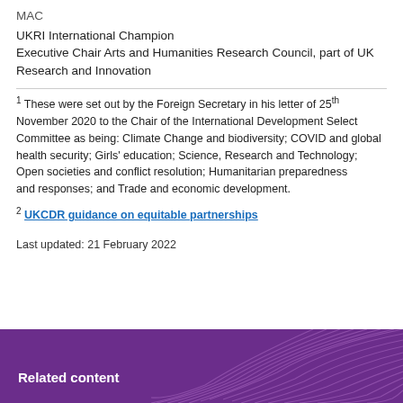MAC
UKRI International Champion
Executive Chair Arts and Humanities Research Council, part of UK Research and Innovation
1 These were set out by the Foreign Secretary in his letter of 25th November 2020 to the Chair of the International Development Select Committee as being: Climate Change and biodiversity; COVID and global health security; Girls' education; Science, Research and Technology; Open societies and conflict resolution; Humanitarian preparedness and responses; and Trade and economic development.
2 UKCDR guidance on equitable partnerships
Last updated: 21 February 2022
Related content